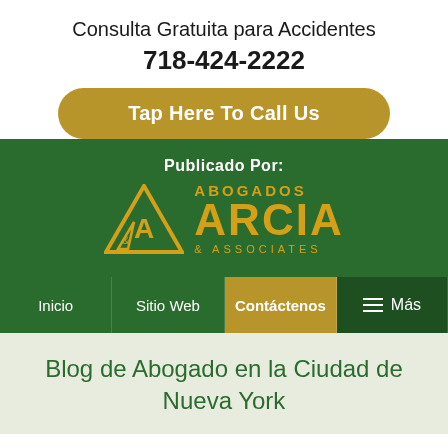Consulta Gratuita para Accidentes
718-424-2222
Tap Here To Call Us
Publicado Por:
[Figure (logo): Abogados Arcia & Associates logo with gold triangle A&A symbol and gold text on green background]
Inicio   Sitio Web   Contáctenos   Más
Blog de Abogado en la Ciudad de Nueva York
2018 Was a Good Year for